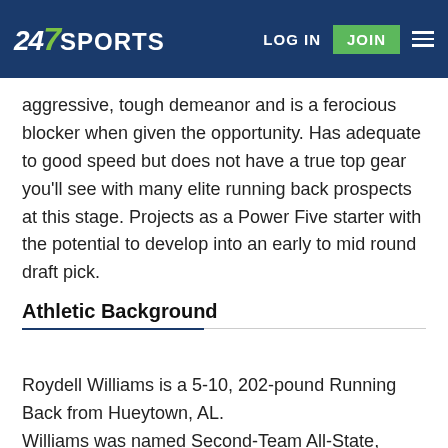247 SPORTS | LOG IN | JOIN
aggressive, tough demeanor and is a ferocious blocker when given the opportunity. Has adequate to good speed but does not have a true top gear you'll see with many elite running back prospects at this stage. Projects as a Power Five starter with the potential to develop into an early to mid round draft pick.
Athletic Background
Roydell Williams is a 5-10, 202-pound Running Back from Hueytown, AL.
Williams was named Second-Team All-State, Clays 6A